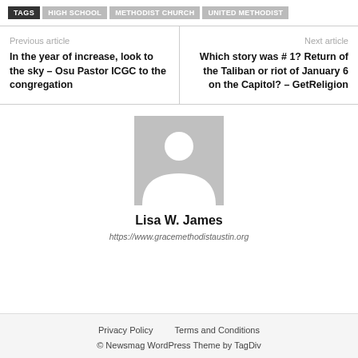TAGS  HIGH SCHOOL  METHODIST CHURCH  UNITED METHODIST
Previous article
In the year of increase, look to the sky – Osu Pastor ICGC to the congregation
Next article
Which story was # 1? Return of the Taliban or riot of January 6 on the Capitol? – GetReligion
[Figure (illustration): Silhouette avatar placeholder image — grey square with white person silhouette]
Lisa W. James
https://www.gracemethodistaustin.org
Privacy Policy    Terms and Conditions
© Newsmag WordPress Theme by TagDiv